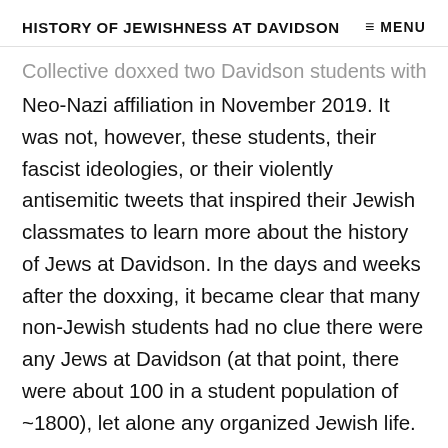HISTORY OF JEWISHNESS AT DAVIDSON   ≡ MENU
Collective doxxed two Davidson students with Neo-Nazi affiliation in November 2019. It was not, however, these students, their fascist ideologies, or their violently antisemitic tweets that inspired their Jewish classmates to learn more about the history of Jews at Davidson. In the days and weeks after the doxxing, it became clear that many non-Jewish students had no clue there were any Jews at Davidson (at that point, there were about 100 in a student population of ~1800), let alone any organized Jewish life.